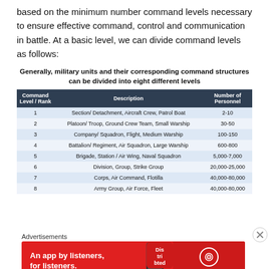based on the minimum number command levels necessary to ensure effective command, control and communication in battle. At a basic level, we can divide command levels as follows:
Generally, military units and their corresponding command structures can be divided into eight different levels
| Command Level / Rank | Description | Number of Personnel |
| --- | --- | --- |
| 1 | Section/ Detachment, Aircraft Crew, Patrol Boat | 2-10 |
| 2 | Platoon/ Troop, Ground Crew Team, Small Warship | 30-50 |
| 3 | Company/ Squadron, Flight, Medium Warship | 100-150 |
| 4 | Battalion/ Regiment, Air Squadron, Large Warship | 600-800 |
| 5 | Brigade, Station / Air Wing, Naval Squadron | 5,000-7,000 |
| 6 | Division, Group, Strike Group | 20,000-25,000 |
| 7 | Corps, Air Command, Flotilla | 40,000-80,000 |
| 8 | Army Group, Air Force, Fleet | 40,000-80,000 |
Advertisements
[Figure (infographic): Red advertisement banner for Pocket Casts app: 'An app by listeners, for listeners.']